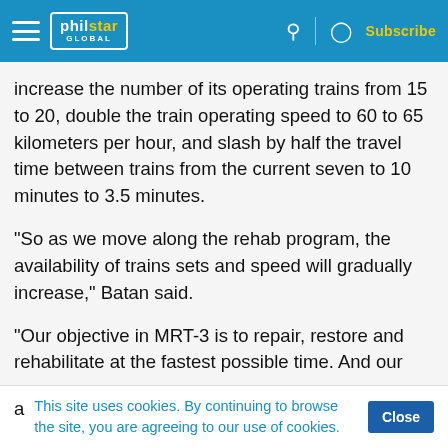philstar GLOBAL — Subscribe
increase the number of its operating trains from 15 to 20, double the train operating speed to 60 to 65 kilometers per hour, and slash by half the travel time between trains from the current seven to 10 minutes to 3.5 minutes.
“So as we move along the rehab program, the availability of trains sets and speed will gradually increase,” Batan said.
“Our objective in MRT-3 is to repair, restore and rehabilitate at the fastest possible time. And our
This site uses cookies. By continuing to browse the site, you are agreeing to our use of cookies.